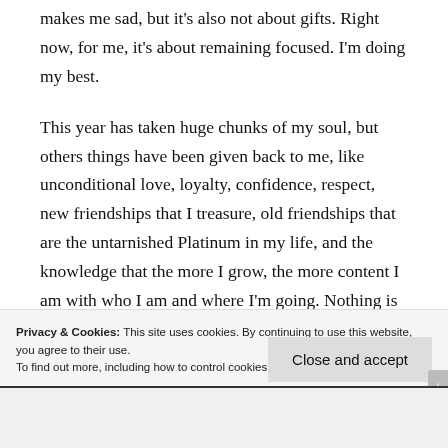makes me sad, but it's also not about gifts. Right now, for me, it's about remaining focused. I'm doing my best.
This year has taken huge chunks of my soul, but others things have been given back to me, like unconditional love, loyalty, confidence, respect, new friendships that I treasure, old friendships that are the untarnished Platinum in my life, and the knowledge that the more I grow, the more content I am with who I am and where I'm going. Nothing is set in stone, and I'm learning that
Privacy & Cookies: This site uses cookies. By continuing to use this website, you agree to their use. To find out more, including how to control cookies, see here: Cookie Policy
Close and accept